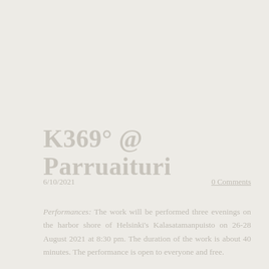K369° @ Parruaituri
6/10/2021
0 Comments
Performances: The work will be performed three evenings on the harbor shore of Helsinki's Kalasatamanpuisto on 26-28 August 2021 at 8:30 pm. The duration of the work is about 40 minutes. The performance is open to everyone and free.